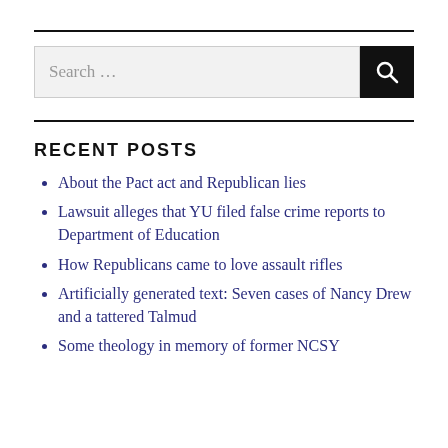[Figure (screenshot): Search bar with text input field showing 'Search ...' placeholder and a black search button with magnifying glass icon]
RECENT POSTS
About the Pact act and Republican lies
Lawsuit alleges that YU filed false crime reports to Department of Education
How Republicans came to love assault rifles
Artificially generated text: Seven cases of Nancy Drew and a tattered Talmud
Some theology in memory of former NCSY